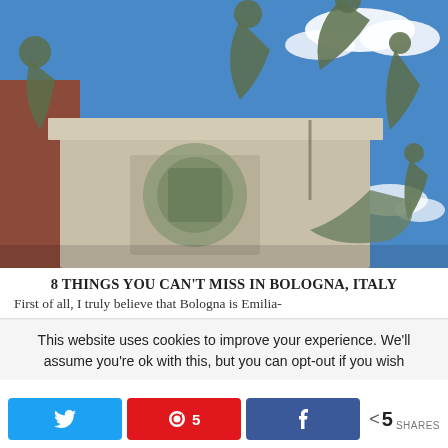[Figure (photo): Close-up photo of a bronze and stone monument in Bologna, Italy, showing cherub and figure sculptures on a pedestal with papal coat of arms carvings against a blue sky with white clouds.]
8 THINGS YOU CAN'T MISS IN BOLOGNA, ITALY
First of all, I truly believe that Bologna is Emilia-
This website uses cookies to improve your experience. We'll assume you're ok with this, but you can opt-out if you wish